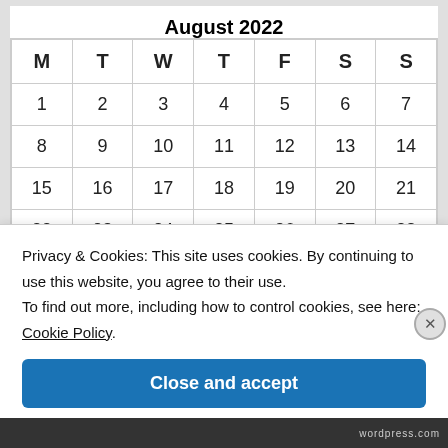August 2022
| M | T | W | T | F | S | S |
| --- | --- | --- | --- | --- | --- | --- |
| 1 | 2 | 3 | 4 | 5 | 6 | 7 |
| 8 | 9 | 10 | 11 | 12 | 13 | 14 |
| 15 | 16 | 17 | 18 | 19 | 20 | 21 |
| 22 | 23 | 24 | 25 | 26 | 27 | 28 |
Privacy & Cookies: This site uses cookies. By continuing to use this website, you agree to their use.
To find out more, including how to control cookies, see here: Cookie Policy.
Close and accept